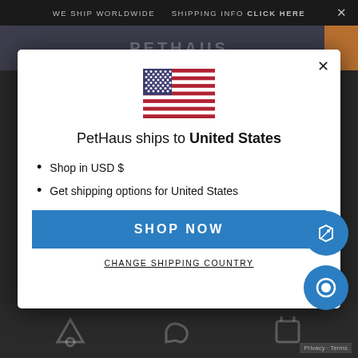WE SHIP WORLDWIDE   SHIPPING INFO CLICK HERE
[Figure (screenshot): Partial website header with PETHAUS logo text and orange block on the right]
[Figure (illustration): United States flag icon]
PetHaus ships to United States
Shop in USD $
Get shipping options for United States
SHOP NOW
CHANGE SHIPPING COUNTRY
[Figure (illustration): Floating price tag icon button (blue circle)]
[Figure (illustration): Floating chat icon button (blue circle)]
Privacy · Terms